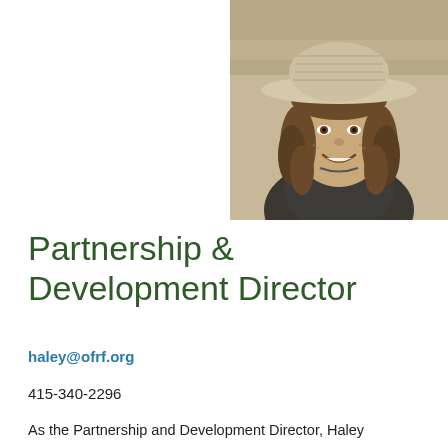[Figure (photo): Black and white portrait photo of a woman wearing a wide-brim woven hat and a jacket, smiling, with curly hair, outdoors.]
Partnership & Development Director
haley@ofrf.org
415-340-2296
As the Partnership and Development Director, Haley